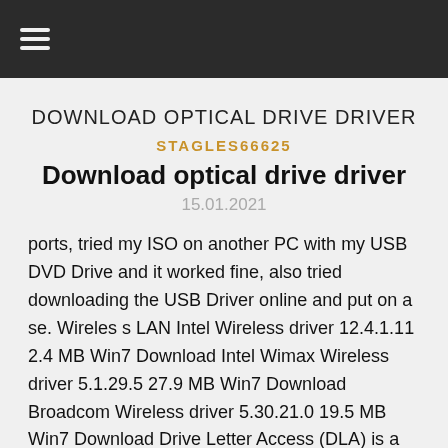DOWNLOAD OPTICAL DRIVE DRIVER
STAGLES66625
Download optical drive driver
15.01.2021
ports, tried my ISO on another PC with my USB DVD Drive and it worked fine, also tried downloading the USB Driver online and put on a se. Wireles s LAN Intel Wireless driver 12.4.1.11 2.4 MB Win7 Download Intel Wimax Wireless driver 5.1.29.5 27.9 MB Win7 Download Broadcom Wireless driver 5.30.21.0 19.5 MB Win7 Download Drive Letter Access (DLA) is a discontinued